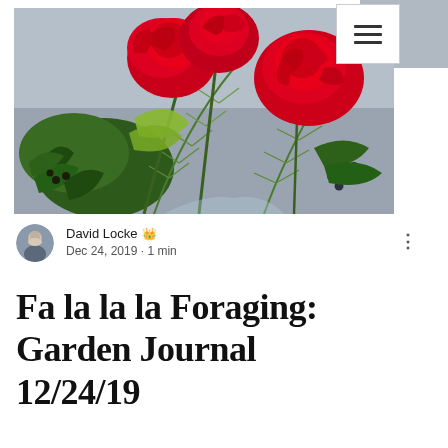[Figure (photo): Red roses with holly leaves and pine branches in a floral arrangement against a gray background]
David Locke 👑
Dec 24, 2019 · 1 min
Fa la la la Foraging: Garden Journal 12/24/19